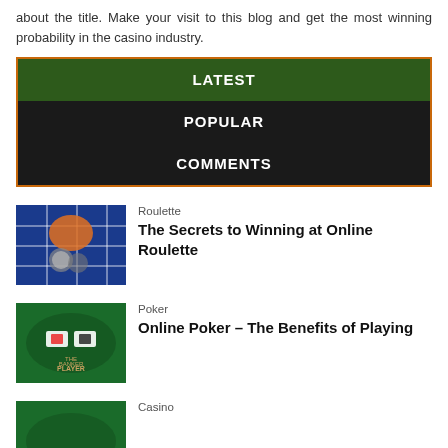about the title. Make your visit to this blog and get the most winning probability in the casino industry.
LATEST
POPULAR
COMMENTS
[Figure (photo): Roulette table close-up with chips]
Roulette
The Secrets to Winning at Online Roulette
[Figure (photo): Poker table with cards and chips]
Poker
Online Poker – The Benefits of Playing
[Figure (photo): Casino table green felt]
Casino